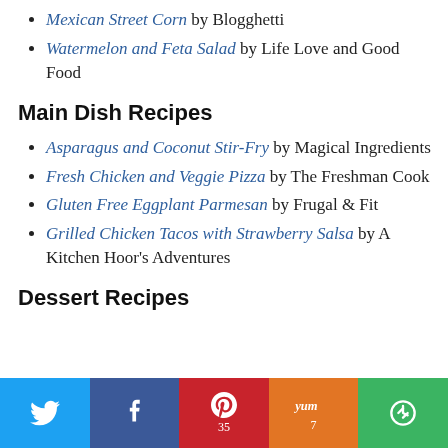Mexican Street Corn by Blogghetti
Watermelon and Feta Salad by Life Love and Good Food
Main Dish Recipes
Asparagus and Coconut Stir-Fry by Magical Ingredients
Fresh Chicken and Veggie Pizza by The Freshman Cook
Gluten Free Eggplant Parmesan by Frugal & Fit
Grilled Chicken Tacos with Strawberry Salsa by A Kitchen Hoor's Adventures
Dessert Recipes
[Figure (infographic): Social sharing bar with Twitter, Facebook, Pinterest (35), Yummly (7), and Flipboard buttons]